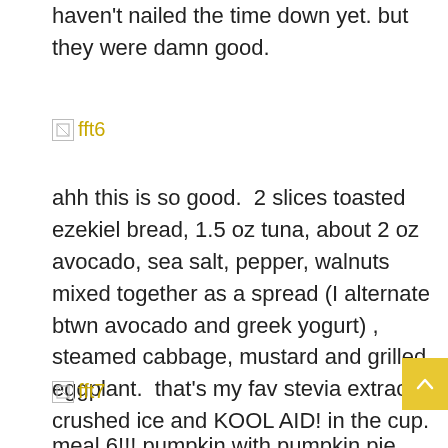haven't nailed the time down yet. but they were damn good.
[Figure (photo): Broken image placeholder labeled fft6]
ahh this is so good.  2 slices toasted ezekiel bread, 1.5 oz tuna, about 2 oz avocado, sea salt, pepper, walnuts mixed together as a spread (I alternate btwn avocado and greek yogurt) , steamed cabbage, mustard and grilled eggplant.  that's my fav stevia extract, crushed ice and KOOL AID! in the cup.
[Figure (photo): Broken image placeholder labeled fft7]
meal 6!!! pumpkin with pumpkin pie spice, stevia extract, steamed cabbage, egg plant, green beans, Brussel sprouts, toasted Ezekiel bread with 1 tsp pnut butte onions and peppers, sauerkraut , chicken breast, sa...